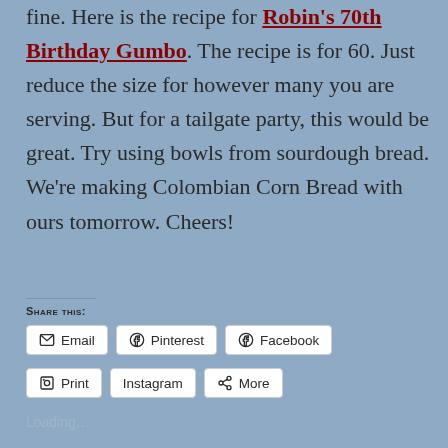fine. Here is the recipe for Robin's 70th Birthday Gumbo. The recipe is for 60. Just reduce the size for however many you are serving. But for a tailgate party, this would be great. Try using bowls from sourdough bread. We're making Colombian Corn Bread with ours tomorrow. Cheers!
Share this:
Email  Pinterest  Facebook  Print  Instagram  More
Loading...